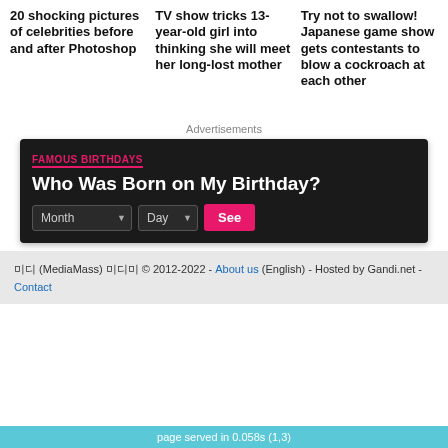20 shocking pictures of celebrities before and after Photoshop
TV show tricks 13-year-old girl into thinking she will meet her long-lost mother
Try not to swallow! Japanese game show gets contestants to blow a cockroach at each other
Advertisements
FAMOUS BIRTHDAYS
Who Was Born on My Birthday?
Month Day See
미디 (MediaMass) 미디미 © 2012-2022 - About us (English) - Hosted by Gandi.net - Contact
page served in 0.058s (1,3)